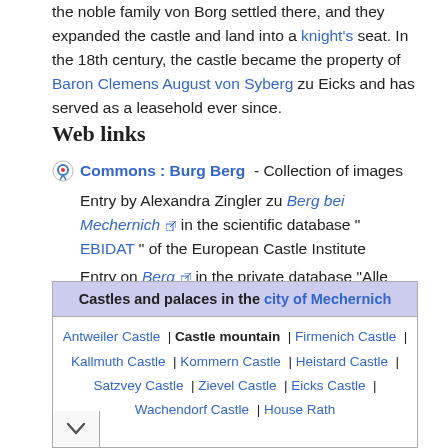the noble family von Borg settled there, and they expanded the castle and land into a knight's seat. In the 18th century, the castle became the property of Baron Clemens August von Syberg zu Eicks and has served as a leasehold ever since.
Web links
Commons : Burg Berg - Collection of images
Entry by Alexandra Zingler zu Berg bei Mechernich in the scientific database " EBIDAT " of the European Castle Institute
Entry on Berg in the private database "Alle Burgen".
The castle on www.mechernich.de
The castle on www.kreis-euskirchen.de
| Castles and palaces in the city of Mechernich |
| --- |
| Antweiler Castle | Castle mountain | Firmenich Castle | Kallmuth Castle | Kommern Castle | Heistard Castle | Satzvey Castle | Zievel Castle | Eicks Castle | Wachendorf Castle | House Rath |